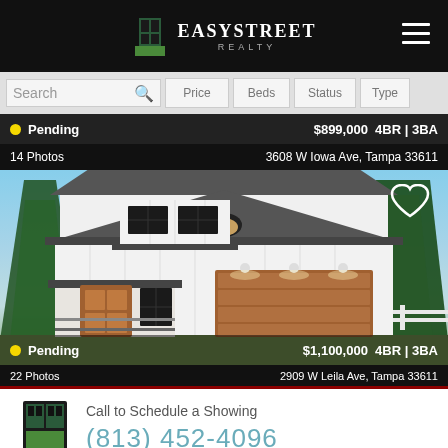[Figure (logo): EasyStreet Realty logo with door icon on black header bar]
Search | Price | Beds | Status | Type
Pending  $899,000  4BR | 3BA
14 Photos   3608 W Iowa Ave, Tampa 33611
[Figure (photo): Exterior rendering of a modern white farmhouse with two-car garage and black trim, pending listing]
Pending  $1,100,000  4BR | 3BA
22 Photos   2909 W Leila Ave, Tampa 33611
Call to Schedule a Showing
(813) 452-4096